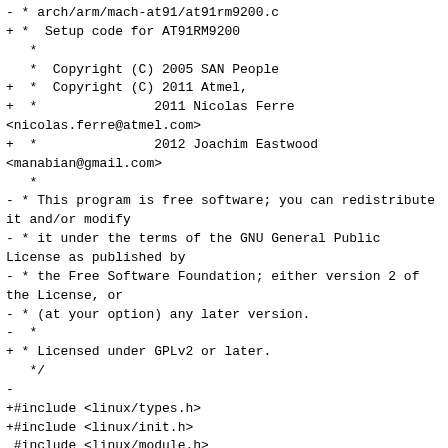- * arch/arm/mach-at91/at91rm9200.c
+ *  Setup code for AT91RM9200
   *
   *  Copyright (C) 2005 SAN People
+  *  Copyright (C) 2011 Atmel,
+  *               2011 Nicolas Ferre <nicolas.ferre@atmel.com>
+  *               2012 Joachim Eastwood <manabian@gmail.com>
   *
- * This program is free software; you can redistribute it and/or modify
- * it under the terms of the GNU General Public License as published by
- * the Free Software Foundation; either version 2 of the License, or
- * (at your option) any later version.
-  *
+ * Licensed under GPLv2 or later.
   */
-
+#include <linux/types.h>
+#include <linux/init.h>
 #include <linux/module.h>
+#include <linux/gpio.h>
+#include <linux/of.h>
+#include <linux/of_irq.h>
+#include <linux/of_platform.h>
+#include <linux/clk-provider.h>
 #include <linux/clk/at91_pmc.h>